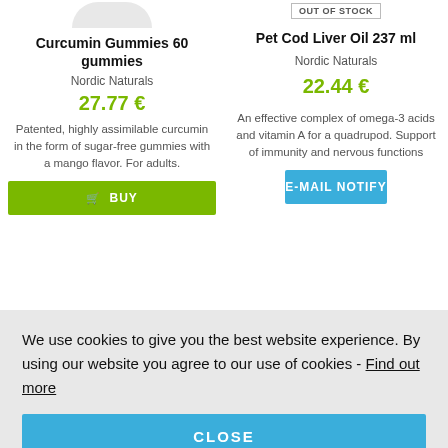Curcumin Gummies 60 gummies
Pet Cod Liver Oil 237 ml
Nordic Naturals
27.77 €
Nordic Naturals
22.44 €
Patented, highly assimilable curcumin in the form of sugar-free gummies with a mango flavor. For adults.
An effective complex of omega-3 acids and vitamin A for a quadrupod. Support of immunity and nervous functions
We use cookies to give you the best website experience. By using our website you agree to our use of cookies - Find out more
CLOSE
OUT OF STOCK
OUT OF STOCK